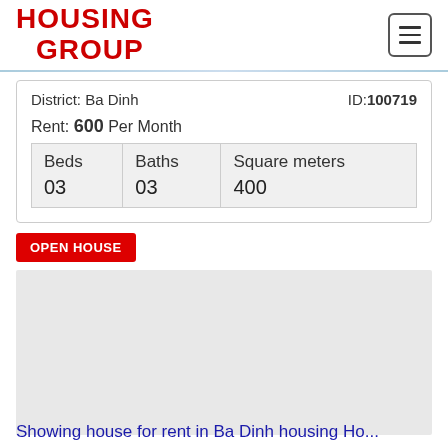[Figure (logo): Housing Group logo in red bold text with two lines and an underline arc]
District: Ba Dinh
ID:100719
Rent: 600 Per Month
| Beds | Baths | Square meters |
| --- | --- | --- |
| 03 | 03 | 400 |
OPEN HOUSE
[Figure (photo): Property photo placeholder (gray area)]
Showing house for rent in Ba Dinh housing Ho...